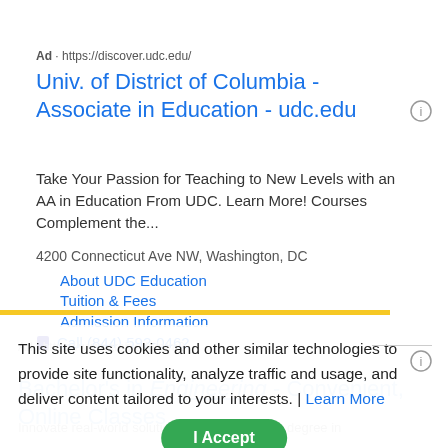Ad · https://discover.udc.edu/
Univ. of District of Columbia - Associate in Education - udc.edu
Take Your Passion for Teaching to New Levels with an AA in Education From UDC. Learn More! Courses Complement the...
4200 Connecticut Ave NW, Washington, DC
About UDC Education
Tuition & Fees
Admission Information
Call (844) 592-0462
This site uses cookies and other similar technologies to provide site functionality, analyze traffic and usage, and deliver content tailored to your interests. | Learn More
I Accept
Bachelor's in Engineering - Convenient, Online Classes
Innovate real-world solutions with a bachelor's degree in